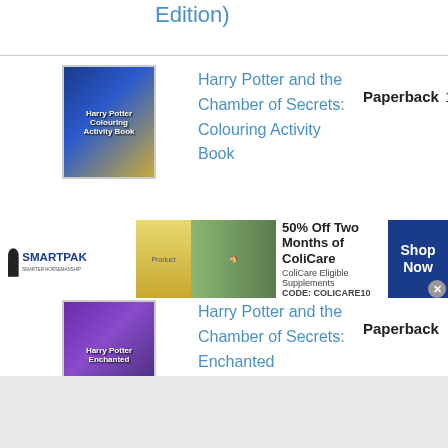Edition)
[Figure (illustration): Book cover: Harry Potter and the Chamber of Secrets: Colouring Activity Book]
Harry Potter and the Chamber of Secrets: Colouring Activity Book
Paperback
12020036
[Figure (illustration): Book cover: Harry Potter and the Chamber of Secrets: Enchanted]
Harry Potter and the Chamber of Secrets: Enchanted
Paperback
1073915
[Figure (photo): SmartPak advertisement banner: 50% Off Two Months of ColiCare, ColiCare Eligible Supplements, CODE: COLICARE10. Shop Now button.]